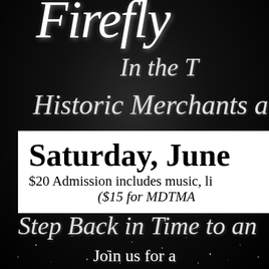Firefly
In the T
Historic Merchants a
Saturday, June
$20 Admission includes music, li
($15 for MDTMA
Step Back in Time to an
Join us for a